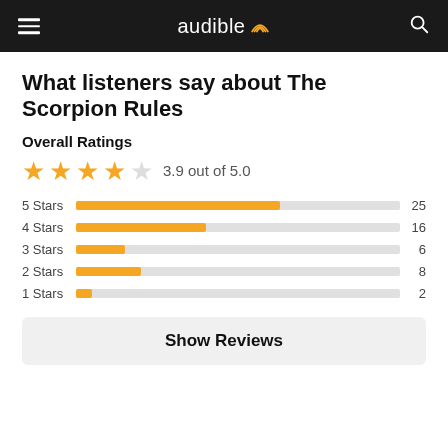audible
What listeners say about The Scorpion Rules
Overall Ratings
[Figure (bar-chart): Overall Ratings]
Show Reviews